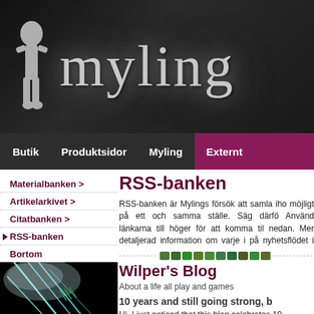myling
Butik | Produktsidor | Myling | Externt
Materialbanken >
Artikelarkivet >
Citatbanken >
RSS-banken
Bortom
Legend och Sägen
Tinas galleri
RSS-banken
RSS-banken är Mylings försök att samla iho möjligt på ett och samma ställe. Säg därfö Använd länkarna till höger för att komma ti nedan. Mer detaljerad information om varje i på nyhetsflödet i sin RSS-läsare kan trycka p
[Figure (screenshot): RSS feed icon/button bar]
Wilper's Blog
About a life all play and games
10 years and still going strong, b
Hi, I just noticed that this blog celebrates 10 updates are few and far between these days. all the games that I had hoarded. But now I
[Figure (photo): Black and cyan abstract image, possibly game or night sky screenshot]